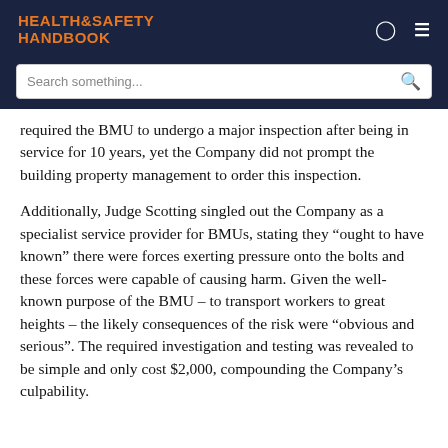HEALTH&SAFETY HANDBOOK
required the BMU to undergo a major inspection after being in service for 10 years, yet the Company did not prompt the building property management to order this inspection.
Additionally, Judge Scotting singled out the Company as a specialist service provider for BMUs, stating they “ought to have known” there were forces exerting pressure onto the bolts and these forces were capable of causing harm. Given the well-known purpose of the BMU – to transport workers to great heights – the likely consequences of the risk were “obvious and serious”. The required investigation and testing was revealed to be simple and only cost $2,000, compounding the Company’s culpability.